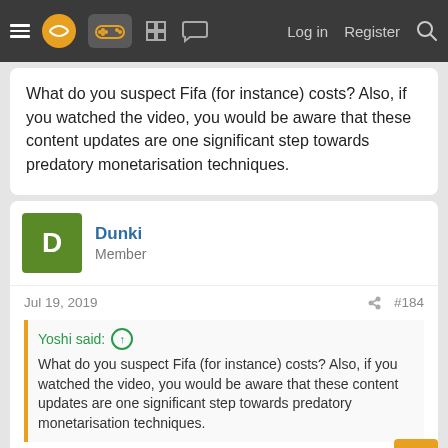Navigation bar with menu, logo, controller icon, grid icon, chat icon, Log in, Register, Search
What do you suspect Fifa (for instance) costs? Also, if you watched the video, you would be aware that these content updates are one significant step towards predatory monetarisation techniques.
Dunki
Member
Jul 19, 2019  #184
Yoshi said: ↑
What do you suspect Fifa (for instance) costs? Also, if you watched the video, you would be aware that these content updates are one significant step towards predatory monetarisation techniques.
I agree with Fifa but even here it is just a mode and you do not need to spend anything.. It is just a card collecting game